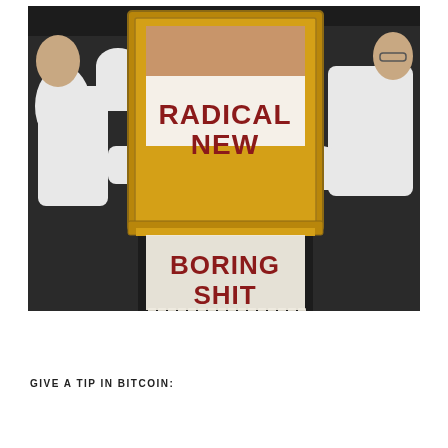[Figure (photo): Photo of two people in white gloves holding a large ornate gold-framed artwork by Banksy. The artwork shows the text 'RADICAL NEW' in large red letters on the upper portion (inside the frame) and 'BORING SHIT' in red letters on the lower shredded portion that hangs below the frame, with the canvas appearing to have been partially shredded into vertical strips.]
GIVE A TIP IN BITCOIN: